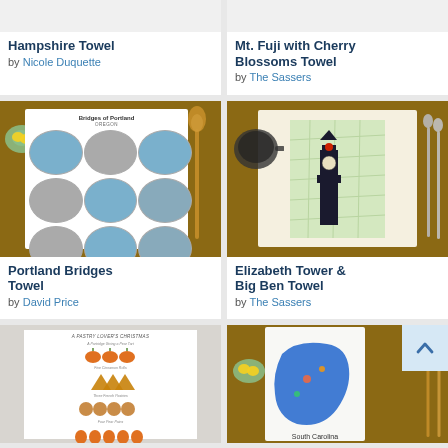[Figure (photo): Hampshire Towel product photo (partially visible, cut off at top)]
Hampshire Towel
by Nicole Duquette
[Figure (photo): Mt. Fuji with Cherry Blossoms Towel product photo (partially visible, cut off at top)]
Mt. Fuji with Cherry Blossoms Towel
by The Sassers
[Figure (photo): Portland Bridges Towel product photo on wooden table with lemons and wooden spoons]
Portland Bridges Towel
by David Price
[Figure (photo): Elizabeth Tower & Big Ben Towel product photo on wooden table with cast iron pan and spoons]
Elizabeth Tower & Big Ben Towel
by The Sassers
[Figure (photo): A Pastry Lover's Christmas towel product photo on gray background (partially visible)]
[Figure (photo): South Carolina map towel product photo on wooden table with lemons and wooden spoons (partially visible), with scroll-to-top button overlay]